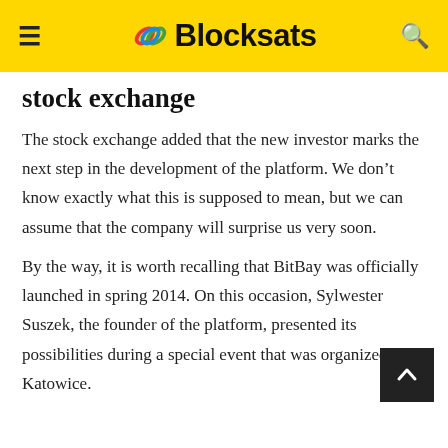≡ Blocksats 🔍
stock exchange
The stock exchange added that the new investor marks the next step in the development of the platform. We don't know exactly what this is supposed to mean, but we can assume that the company will surprise us very soon.
By the way, it is worth recalling that BitBay was officially launched in spring 2014. On this occasion, Sylwester Suszek, the founder of the platform, presented its possibilities during a special event that was organized in Katowice.